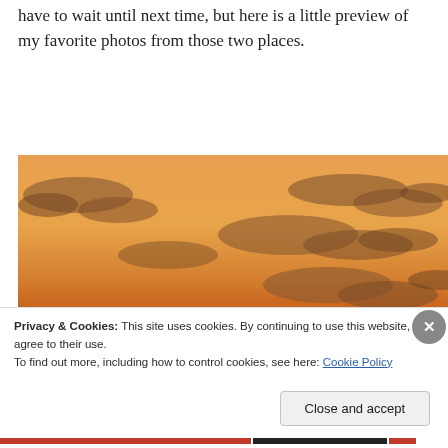have to wait until next time, but here is a little preview of my favorite photos from those two places.
[Figure (photo): A sunset over the ocean or sea, with warm orange and amber tones filling the sky, dark clouds scattered across the upper portion, and the bright sun just above the horizon reflecting on calm water.]
Privacy & Cookies: This site uses cookies. By continuing to use this website, you agree to their use.
To find out more, including how to control cookies, see here: Cookie Policy
Close and accept